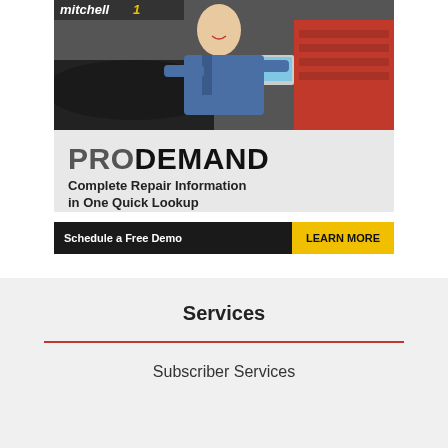[Figure (advertisement): Mitchell1 ProDemand advertisement showing a mechanic working on a car with a laptop. Text reads 'PRODEMAND - Complete Repair Information in One Quick Lookup - Schedule a Free Demo - LEARN MORE']
Services
Subscriber Services